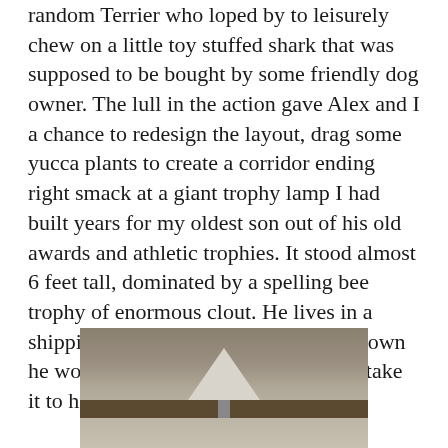random Terrier who loped by to leisurely chew on a little toy stuffed shark that was supposed to be bought by some friendly dog owner. The lull in the action gave Alex and I a chance to redesign the layout, drag some yucca plants to create a corridor ending right smack at a giant trophy lamp I had built years for my oldest son out of his old awards and athletic trophies. It stood almost 6 feet tall, dominated by a spelling bee trophy of enormous clout. He lives in a shipping container so I should have known he would never have room to actually take it to his own home.
[Figure (photo): A photo of a lamp with a white/light-colored shade sitting on what appears to be a shelf or mantle, taken indoors against a dark background.]